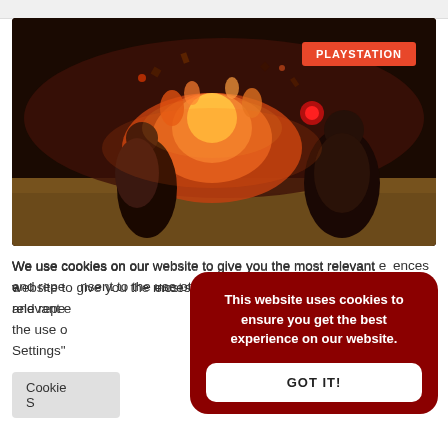[Figure (screenshot): Video game screenshot showing two armored warriors fighting amidst fire and explosions on a sandy battlefield. A red 'PLAYSTATION' badge appears in the top-right corner of the image.]
We use cookies on our website to give you the most relevant experiences and repeat visits. By clicking "Accept", you consent to the use of all the cookies. However you may visit "Cookie Settings" to provide a controlled consent.
Cookie Settings
This website uses cookies to ensure you get the best experience on our website.
GOT IT!